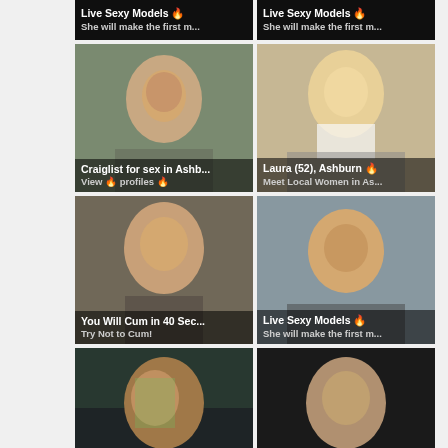[Figure (photo): Top banner ad left: dark background with overlay text 'Live Sexy Models' and 'She will make the first m...']
[Figure (photo): Top banner ad right: dark background with overlay text 'Live Sexy Models' and 'She will make the first m...']
[Figure (photo): Young woman outdoors, overlay: 'Craiglist for sex in Ashb...' / 'View profiles']
[Figure (photo): Blonde woman, overlay: 'Laura (52), Ashburn' / 'Meet Local Women in As...']
[Figure (photo): Young woman close-up, overlay: 'You Will Cum in 40 Sec...' / 'Try Not to Cum!']
[Figure (photo): Woman close-up, overlay: 'Live Sexy Models' / 'She will make the first m...']
[Figure (photo): Woman with green hair, overlay: 'Ashburn, AmyRose (24)' / 'View profile']
[Figure (photo): Young woman, overlay: 'Ashburn' / icons]
[Figure (photo): Partial bottom-left image, cropped]
[Figure (photo): Partial bottom-right image, cropped]